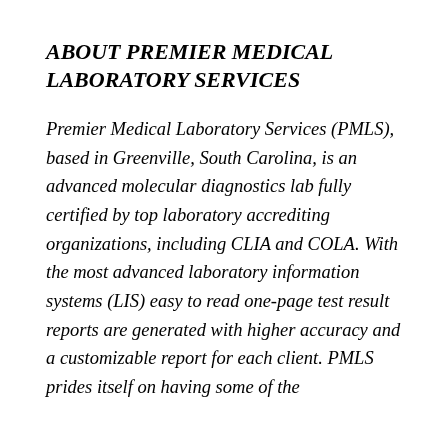ABOUT PREMIER MEDICAL LABORATORY SERVICES
Premier Medical Laboratory Services (PMLS), based in Greenville, South Carolina, is an advanced molecular diagnostics lab fully certified by top laboratory accrediting organizations, including CLIA and COLA. With the most advanced laboratory information systems (LIS) easy to read one-page test result reports are generated with higher accuracy and a customizable report for each client. PMLS prides itself on having some of the